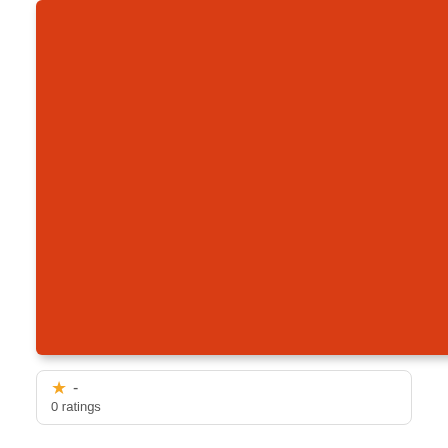[Figure (illustration): Orange/red book cover with white text 'NON' in top right corner, partially visible, cropped at top]
★  -
0 ratings
Reviewed by 2 experts
DN  Designer News:
UXTools: